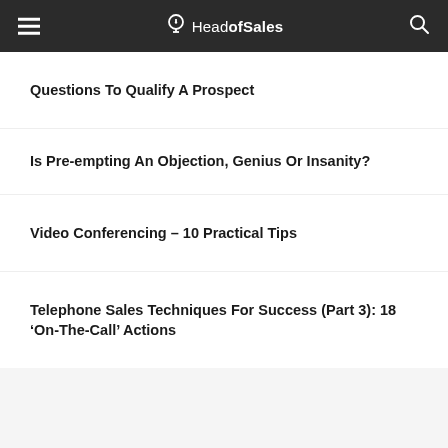Head of Sales
Questions To Qualify A Prospect
Is Pre-empting An Objection, Genius Or Insanity?
Video Conferencing – 10 Practical Tips
Telephone Sales Techniques For Success (Part 3): 18 'On-The-Call' Actions